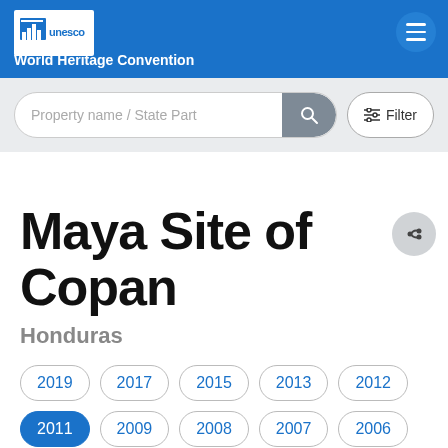UNESCO World Heritage Convention
[Figure (screenshot): Search bar with placeholder 'Property name / State Part', a search button, and a Filter button]
Maya Site of Copan
Honduras
2019
2017
2015
2013
2012
2011
2009
2008
2007
2006